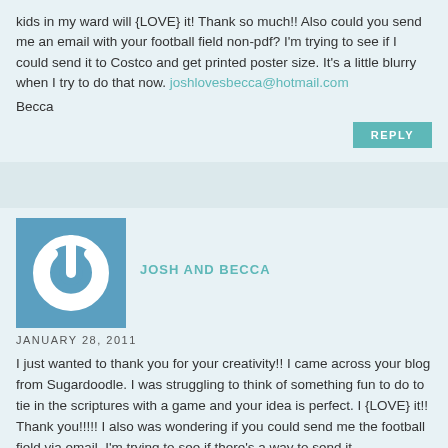kids in my ward will {LOVE} it! Thank so much!! Also could you send me an email with your football field non-pdf? I'm trying to see if I could send it to Costco and get printed poster size. It's a little blurry when I try to do that now. joshlovesbecca@hotmail.com
Becca
REPLY
[Figure (logo): Power button icon on teal/blue square background]
JOSH AND BECCA
JANUARY 28, 2011
I just wanted to thank you for your creativity!! I came across your blog from Sugardoodle. I was struggling to think of something fun to do to tie in the scriptures with a game and your idea is perfect. I {LOVE} it!! Thank you!!!!! I also was wondering if you could send me the football field via email. I'm trying to see if there's a way to send it